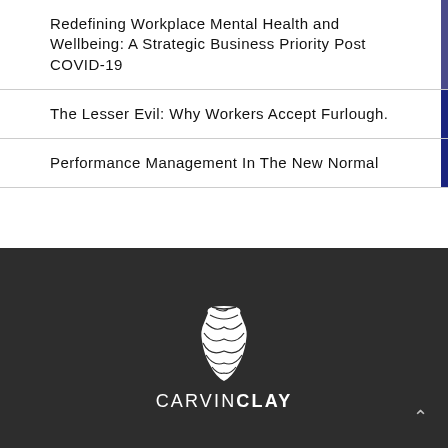Redefining Workplace Mental Health and Wellbeing: A Strategic Business Priority Post COVID-19
The Lesser Evil: Why Workers Accept Furlough.
Performance Management In The New Normal
[Figure (logo): CarvinClay logo: white stylized wood-grain vase/vessel icon above the text CARVINCLAY in white uppercase letters on dark background]
CARVINCLAY